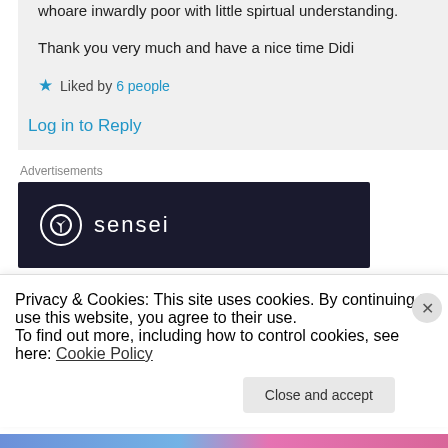whoare inwardly poor with little spirtual understanding.
Thank you very much and have a nice time Didi
★ Liked by 6 people
Log in to Reply
Advertisements
[Figure (logo): Sensei logo: white circle with tree icon and text 'sensei' on dark navy background]
Privacy & Cookies: This site uses cookies. By continuing to use this website, you agree to their use.
To find out more, including how to control cookies, see here: Cookie Policy
Close and accept